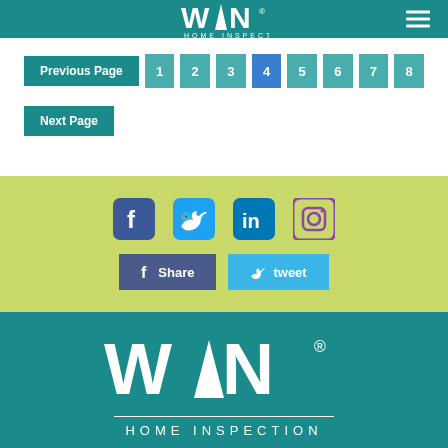WIN HOME INSPECTION
Previous Page 1 2 3 4 5 6 7 8
Next Page
[Figure (infographic): Social media icons: Facebook, Twitter, LinkedIn, Instagram]
Share  tweet
[Figure (logo): WIN Home Inspection logo large white on teal background]